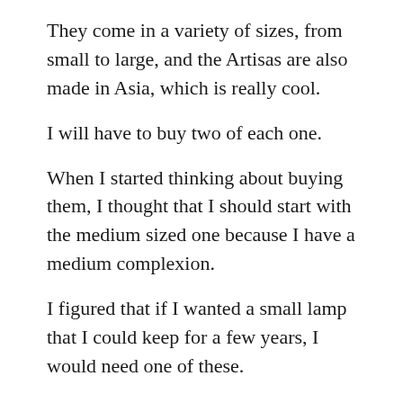They come in a variety of sizes, from small to large, and the Artisas are also made in Asia, which is really cool.
I will have to buy two of each one.
When I started thinking about buying them, I thought that I should start with the medium sized one because I have a medium complexion.
I figured that if I wanted a small lamp that I could keep for a few years, I would need one of these.
So, I got the medium size one, and that was pretty good.
I think I'm probably going to keep that for the foreseeable future.